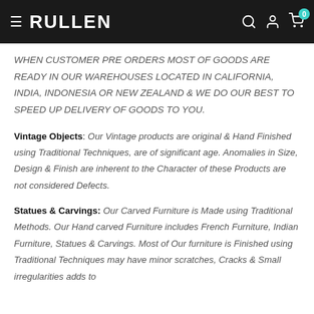RULLEN
WHEN CUSTOMER PRE ORDERS MOST OF GOODS ARE READY IN OUR WAREHOUSES LOCATED IN CALIFORNIA, INDIA, INDONESIA OR NEW ZEALAND & WE DO OUR BEST TO SPEED UP DELIVERY OF GOODS TO YOU.
Vintage Objects: Our Vintage products are original & Hand Finished using Traditional Techniques, are of significant age. Anomalies in Size, Design & Finish are inherent to the Character of these Products are not considered Defects.
Statues & Carvings: Our Carved Furniture is Made using Traditional Methods. Our Hand carved Furniture includes French Furniture, Indian Furniture, Statues & Carvings. Most of Our furniture is Finished using Traditional Techniques may have minor scratches, Cracks & Small irregularities adds to